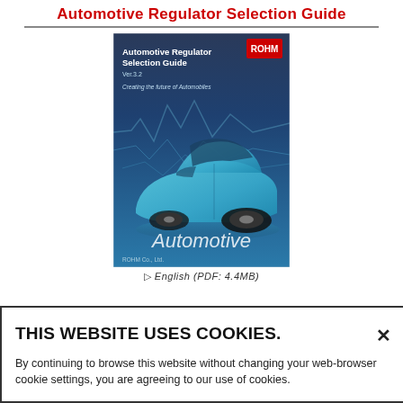Automotive Regulator Selection Guide
[Figure (illustration): Book cover of 'Automotive Regulator Selection Guide Ver.3.2' by ROHM Co., Ltd. Features a blue futuristic car with circuit/wave overlays and the word 'Automotive' in large white italic text at the bottom. ROHM logo in red in the top right corner.]
English (PDF: 4.4MB)
THIS WEBSITE USES COOKIES.
By continuing to browse this website without changing your web-browser cookie settings, you are agreeing to our use of cookies.